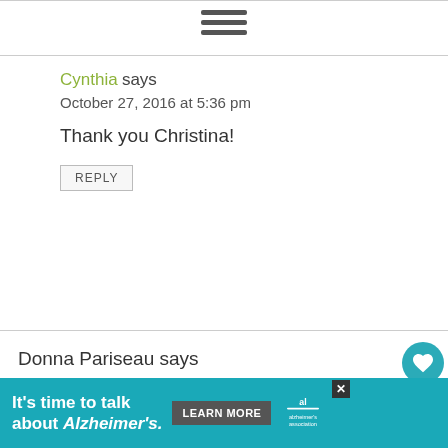[Figure (other): Hamburger menu icon (three horizontal lines)]
Cynthia says
October 27, 2016 at 5:36 pm
Thank you Christina!
REPLY
Donna Pariseau says
October 21, 2016 at 9:07 am
[Figure (other): Teal heart/favorite button (circular)]
[Figure (other): Share button (circular)]
[Figure (other): Advertisement banner: It's time to talk about Alzheimer's. LEARN MORE. Alzheimer's Association logo.]